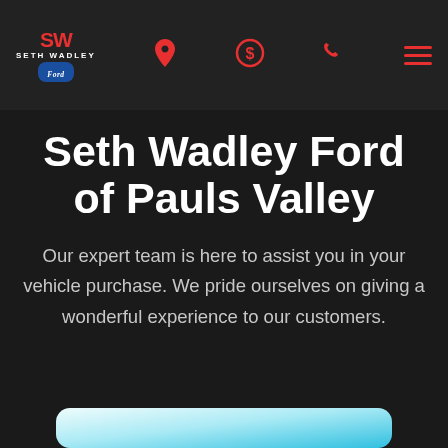Seth Wadley Ford - navigation bar with logo, location, dollar, phone, and menu icons
Seth Wadley Ford of Pauls Valley
Our expert team is here to assist you in your vehicle purchase. We pride ourselves on giving a wonderful experience to our customers.
[Figure (other): Bottom card preview with white-to-teal gradient, partially visible]